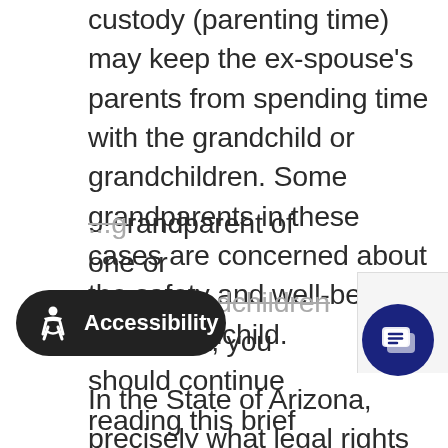custody (parenting time) may keep the ex-spouse's parents from spending time with the grandchild or grandchildren. Some grandparents in these cases are concerned about the safety and well-being of their grandchild.
In the State of Arizona, precisely what legal rights do grandparents have? If a custodial parent acts to keep a grandparent away from a grandchild, does the grandparent have a right to visitation? Or can a grandparent act legally to establish that right?
...grandparent of one or more grandchildren in Arizona, you should continue reading this brief